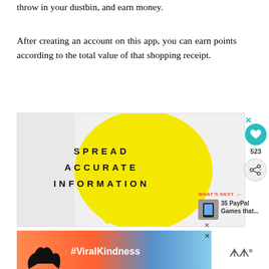throw in your dustbin, and earn money.
After creating an account on this app, you can earn points according to the total value of that shopping receipt.
[Figure (infographic): Advertisement box with yellow speech bubble containing bold spaced text 'SPREAD ACCURATE INFORMATION' on a light gray background. Includes a close X button in teal, a heart/like button (teal circle with heart icon), count of 523, share button, and a 'WHAT'S NEXT' sidebar with '35 PayPal Games that...' link.]
[Figure (infographic): Bottom advertisement banner showing silhouette of hands making a heart shape against a sunset/sky background with text '#ViralKindness' and a WW logo on the right.]